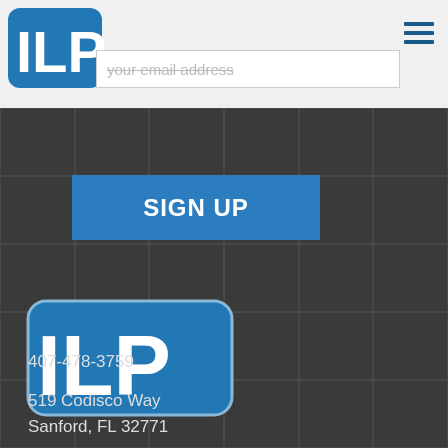[Figure (logo): ILP company logo — blue rounded rectangle with white letters ILP]
your email address
SIGN UP
[Figure (logo): ILP company logo — large version on dark background]
407-478-3759
519 Codisco Way
Sanford, FL 32771